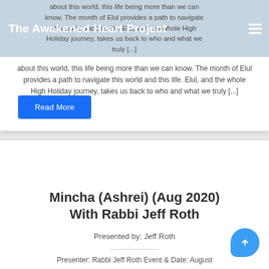The Awakened Heart Project
about this world, this life being more than we can know.  The month of Elul provides a path to navigate this world and this life.  Elul, and the whole High Holiday journey, takes us back to who and what we truly [...]
Read More
Mincha (Ashrei) (Aug 2020) With Rabbi Jeff Roth
Presented by: Jeff Roth
Presenter: Rabbi Jeff Roth Event & Date: August